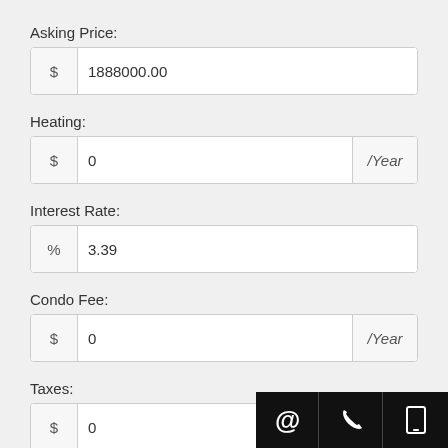Asking Price:
| $ | value |
| --- | --- |
| $ | 1888000.00 |
Heating:
| $ | value | /Year |
| --- | --- | --- |
| $ | 0 | /Year |
Interest Rate:
| % | value |
| --- | --- |
| % | 3.39 |
Condo Fee:
| $ | value | /Year |
| --- | --- | --- |
| $ | 0 | /Year |
Taxes:
| $ | value | /Year |
| --- | --- | --- |
| $ | 0 | /Year |
Other Debt: